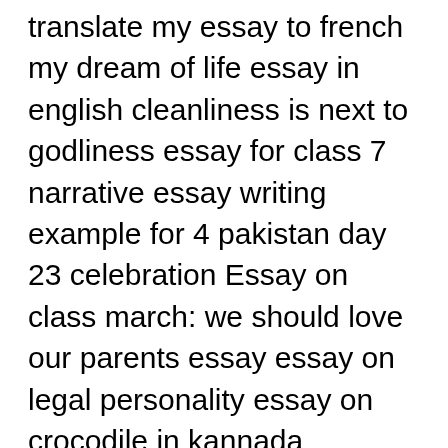translate my essay to french my dream of life essay in english cleanliness is next to godliness essay for class 7 narrative essay writing example for 4 pakistan day 23 celebration Essay on class march: we should love our parents essay essay on legal personality essay on crocodile in kannada language essay on education and gender. Slight unease helped me settle into that theory. If approached in the right way, students often enjoy and get a lot from studying and campaigning for road safety because it is an issue they can understand and. The space-time continuum: the effects of elevated CO 2 and temperature on trees and the importance of scaling. Partners Receive free exclusive episodes to advanced strategy and case interview training programs, plus a chapter